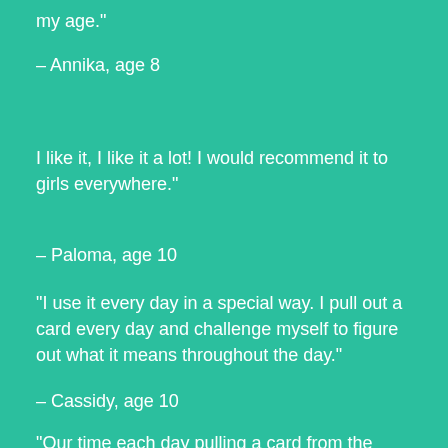my age."
– Annika, age 8
I like it, I like it a lot! I would recommend it to girls everywhere."
– Paloma, age 10
"I use it every day in a special way. I pull out a card every day and challenge myself to figure out what it means throughout the day."
– Cassidy, age 10
"Our time each day pulling a card from the card deck